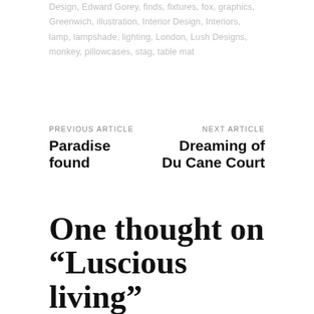Design, Edward Gorey, finds, fixtures, fox, graphics, Greenwich, illustration, Interior Design, Interiors, lamp, lampshade, lighting, London, Lush Designs, monkey, pillowcases, stag, table mat
PREVIOUS ARTICLE
Paradise found
NEXT ARTICLE
Dreaming of Du Cane Court
One thought on “Luscious living”